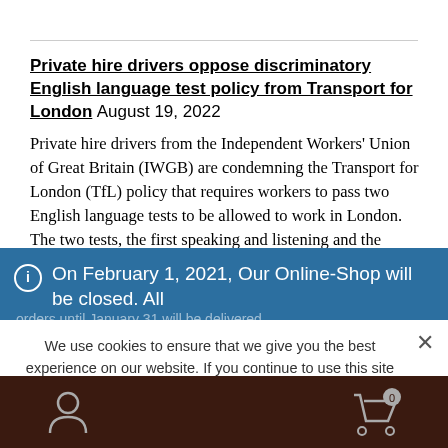Private hire drivers oppose discriminatory English language test policy from Transport for London August 19, 2022
Private hire drivers from the Independent Workers' Union of Great Britain (IWGB) are condemning the Transport for London (TfL) policy that requires workers to pass two English language tests to be allowed to work in London. The two tests, the first speaking and listening and the second reading and writing, were brought in in October
SubZorro
Palestine Action forces Elbit landlord to abandon Birmingham
On February 1, 2021, Our Online-Shop will be closed. All orders until January 31 will be delivered
Dismiss
We use cookies to ensure that we give you the best experience on our website. If you continue to use this site we will assume that you are happy with it.